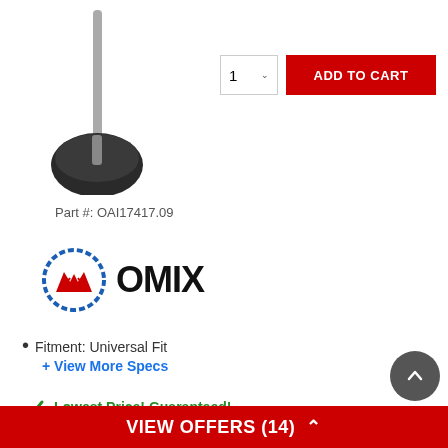[Figure (photo): Engine valve product photo - a valve with dark mushroom head and metal stem]
Part #: OAI17417.09
[Figure (logo): OMIX brand logo - circular gear icon with mountain/M design in red and blue, next to bold black OMIX text]
Fitment: Universal Fit
+ View More Specs
Lowest Price! Guaranteed!
Ship to Home:
Ships Directly From Manufacturer
VIEW OFFERS (14)